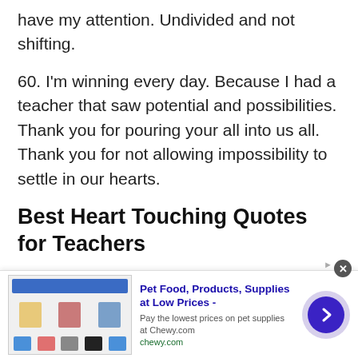have my attention. Undivided and not shifting.
60. I'm winning every day. Because I had a teacher that saw potential and possibilities. Thank you for pouring your all into us all. Thank you for not allowing impossibility to settle in our hearts.
Best Heart Touching Quotes for Teachers
These heart touching quotes for teachers will take your mind back to the different ways your teachers have been there for you. They will also spark reasons
[Figure (screenshot): Advertisement banner for Chewy.com: Pet Food, Products, Supplies at Low Prices. Shows product images on left, ad text in center, and a dark blue circular arrow button on the right. Close button (x) in top right corner.]